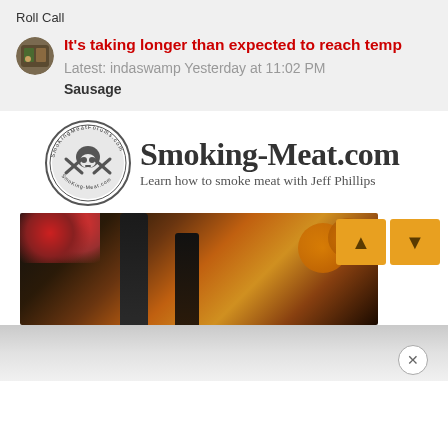Roll Call
It's taking longer than expected to reach temp
Latest: indaswamp Yesterday at 11:02 PM
Sausage
[Figure (logo): Smoking-Meat.com logo with skull and crossbones circular seal and text: Smoking-Meat.com Learn how to smoke meat with Jeff Phillips]
[Figure (photo): Product bottles (BBQ sauce) with flowers and oranges in background, partially visible. Navigation arrow buttons (up/down) in orange on the right. A close (X) button at bottom right.]